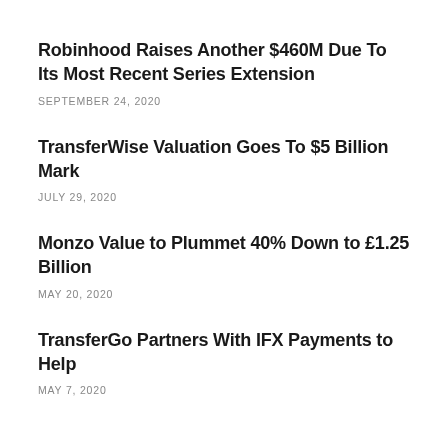Robinhood Raises Another $460M Due To Its Most Recent Series Extension
SEPTEMBER 24, 2020
TransferWise Valuation Goes To $5 Billion Mark
JULY 29, 2020
Monzo Value to Plummet 40% Down to £1.25 Billion
MAY 20, 2020
TransferGo Partners With IFX Payments to Help
MAY 7, 2020